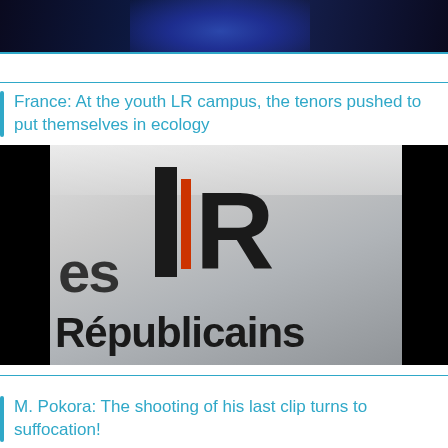[Figure (photo): Dark image with blue tones at top of page]
France: At the youth LR campus, the tenors pushed to put themselves in ecology
[Figure (photo): Photo of Les Républicains party logo on glass door, showing LR letters with orange vertical bar and text 'es Républicains']
M. Pokora: The shooting of his last clip turns to suffocation!